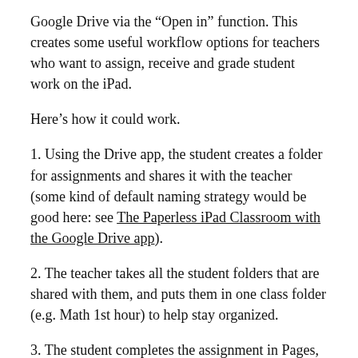Google Drive via the “Open in” function. This creates some useful workflow options for teachers who want to assign, receive and grade student work on the iPad.
Here’s how it could work.
1. Using the Drive app, the student creates a folder for assignments and shares it with the teacher (some kind of default naming strategy would be good here: see The Paperless iPad Classroom with the Google Drive app).
2. The teacher takes all the student folders that are shared with them, and puts them in one class folder (e.g. Math 1st hour) to help stay organized.
3. The student completes the assignment in Pages, Keynote or Numbers and goes to Share and Print >